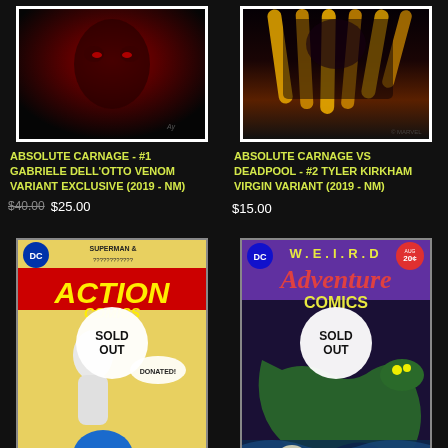[Figure (photo): Comic book cover for Absolute Carnage #1 Gabriele Dell'Otto Venom Variant Exclusive - dark red tones with horror imagery]
ABSOLUTE CARNAGE - #1 GABRIELE DELL'OTTO VENOM VARIANT EXCLUSIVE (2019 - NM)
$40.00 $25.00
[Figure (photo): Comic book cover for Absolute Carnage vs Deadpool #2 Tyler Kirkham Virgin Variant - dark background with yellow/orange tendrils]
ABSOLUTE CARNAGE VS DEADPOOL - #2 TYLER KIRKHAM VIRGIN VARIANT (2019 - NM)
$15.00
[Figure (photo): Action Comics comic cover featuring Superman, with a SOLD OUT badge overlay]
[Figure (photo): Weird Adventure Comics cover featuring a serpent/monster, with a SOLD OUT badge overlay]